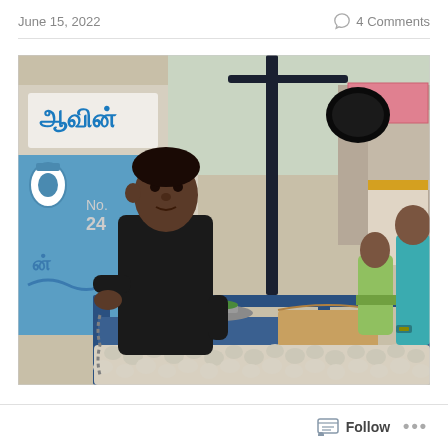June 15, 2022   4 Comments
[Figure (photo): Street market scene in India showing a man in a black shirt standing behind a cart loaded with garlic bulbs. Background shows busy street with Tamil script signage (Aavin dairy brand), other vendors, colorful storefronts, and people including a woman in a green/yellow sari and a man in a teal shirt. A weighing scale arm is visible overhead.]
Follow ...